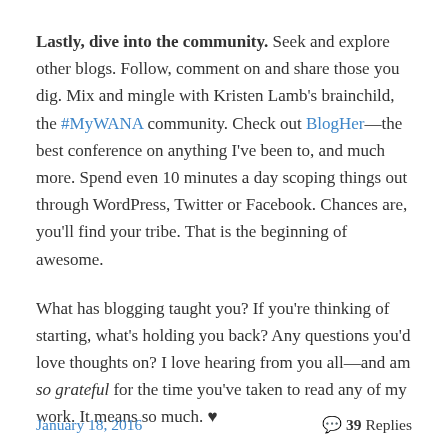Lastly, dive into the community. Seek and explore other blogs. Follow, comment on and share those you dig. Mix and mingle with Kristen Lamb's brainchild, the #MyWANA community. Check out BlogHer—the best conference on anything I've been to, and much more. Spend even 10 minutes a day scoping things out through WordPress, Twitter or Facebook. Chances are, you'll find your tribe. That is the beginning of awesome.
What has blogging taught you? If you're thinking of starting, what's holding you back? Any questions you'd love thoughts on? I love hearing from you all—and am so grateful for the time you've taken to read any of my work. It means so much. ♥
January 18, 2016   💬 39 Replies